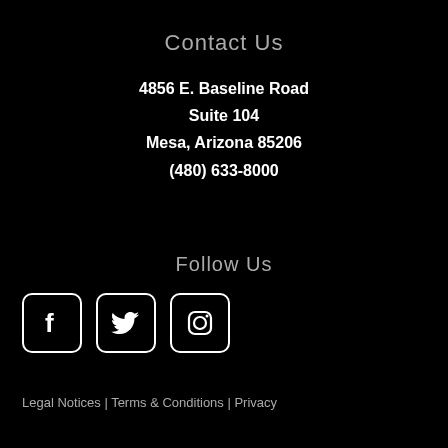Contact Us
4856 E. Baseline Road
Suite 104
Mesa, Arizona 85206
(480) 633-8000
Follow Us
[Figure (illustration): Social media icons: Facebook, Twitter, Instagram — white rounded square outlines on black background]
Legal Notices | Terms & Conditions | Privacy